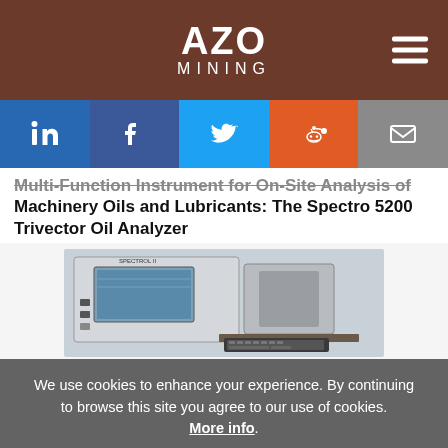AZO MINING
[Figure (logo): AZO Mining logo with hamburger menu icon on brown header bar]
[Figure (infographic): Social sharing buttons: LinkedIn, Facebook, Twitter, Reddit, Email]
Multi-Function Instrument for On-Site Analysis of Machinery Oils and Lubricants: The Spectro 5200 Trivector Oil Analyzer
[Figure (photo): Photo of the Spectro 5200 Trivector Oil Analyzer instrument on a desk with keyboard]
We use cookies to enhance your experience. By continuing to browse this site you agree to our use of cookies. More info.
✓ Accept  Cookie Settings